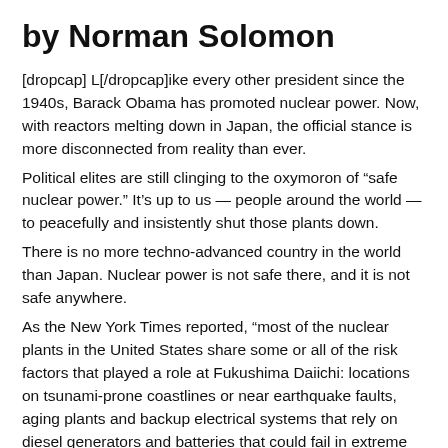by Norman Solomon
[dropcap] L[/dropcap]ike every other president since the 1940s, Barack Obama has promoted nuclear power. Now, with reactors melting down in Japan, the official stance is more disconnected from reality than ever.
Political elites are still clinging to the oxymoron of “safe nuclear power.” It’s up to us — people around the world — to peacefully and insistently shut those plants down.
There is no more techno-advanced country in the world than Japan. Nuclear power is not safe there, and it is not safe anywhere.
As the New York Times reported, “most of the nuclear plants in the United States share some or all of the risk factors that played a role at Fukushima Daiichi: locations on tsunami-prone coastlines or near earthquake faults, aging plants and backup electrical systems that rely on diesel generators and batteries that could fail in extreme circumstances.”
Nuclear power — from uranium mining to fuel fabrication to